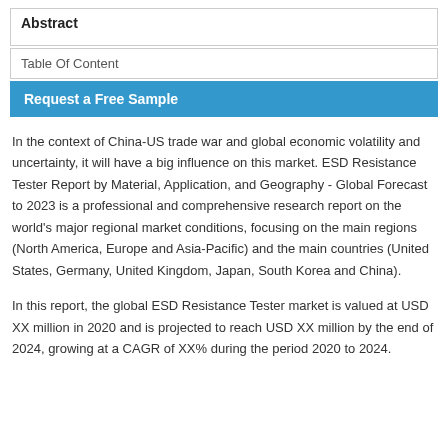Abstract
Table Of Content
Request a Free Sample
In the context of China-US trade war and global economic volatility and uncertainty, it will have a big influence on this market. ESD Resistance Tester Report by Material, Application, and Geography - Global Forecast to 2023 is a professional and comprehensive research report on the world’s major regional market conditions, focusing on the main regions (North America, Europe and Asia-Pacific) and the main countries (United States, Germany, United Kingdom, Japan, South Korea and China).
In this report, the global ESD Resistance Tester market is valued at USD XX million in 2020 and is projected to reach USD XX million by the end of 2024, growing at a CAGR of XX% during the period 2020 to 2024.